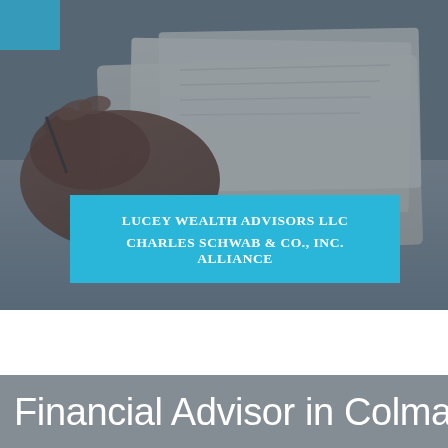[Figure (photo): Background photo of a hand writing or handling papers/documents on a desk, overlaid with a semi-transparent dark tone]
LUCEY WEALTH ADVISORS LLC
CHARLES SCHWAB & CO., INC. ALLIANCE
Financial Advisor in Colma,